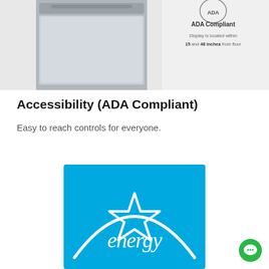[Figure (photo): Partial photo of a stainless steel dishwasher or appliance with ADA Compliant badge overlay. Text on badge reads: 'ADA Compliant — Display is located within 15 and 48 inches from floor']
Accessibility (ADA Compliant)
Easy to reach controls for everyone.
[Figure (logo): ENERGY STAR logo — blue square with white arc and white star outline, with cursive 'energy' text and a star]
[Figure (other): Green chat bubble button in bottom-right corner]